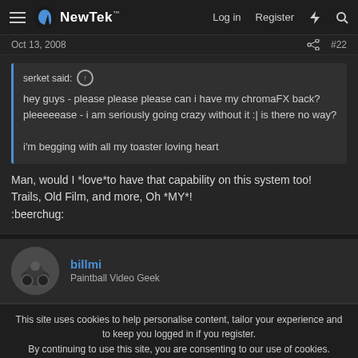NewTek — Log in  Register
Oct 13, 2008  #22
serket said: ↑
hey guys - please please please can i have my chromaFX back? pleeeeease - i am seriously going crazy without it :| is there no way?

i'm begging with all my toaster loving heart
Man, would I *love*to have that capability on this system too! Trails, Old Film, and more, Oh *MY*!
:beerchug:
billmi
Paintball Video Geek
This site uses cookies to help personalise content, tailor your experience and to keep you logged in if you register.
By continuing to use this site, you are consenting to our use of cookies.